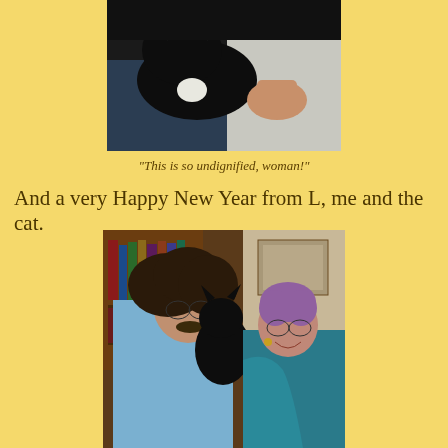[Figure (photo): Close-up photo of a black and white cat being held, appearing annoyed or uncomfortable, partial view of a person holding it]
"This is so undignified, woman!"
And a very Happy New Year from L, me and the cat.
[Figure (photo): Two people (a man with long curly hair and glasses, and a woman with short purple hair and glasses, smiling) holding a black cat, standing in front of a bookshelf]